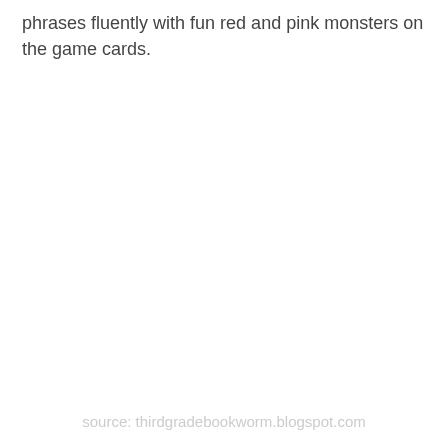phrases fluently with fun red and pink monsters on the game cards.
source: thirdgradebookworm.blogspot.com